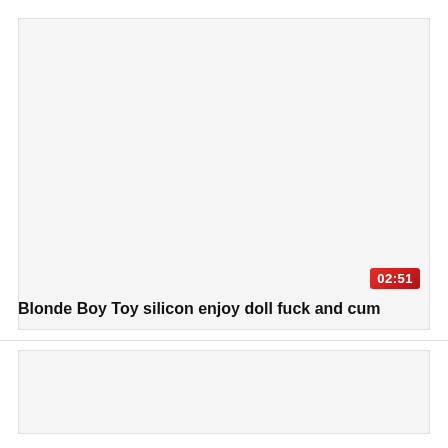[Figure (screenshot): Video thumbnail placeholder — light gray background area]
02:51
Blonde Boy Toy silicon enjoy doll fuck and cum
[Figure (screenshot): Second video thumbnail placeholder — light gray background area]